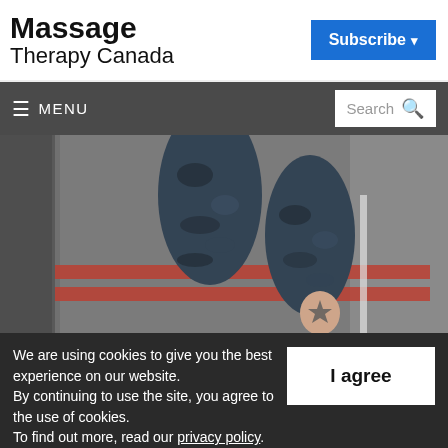Massage Therapy Canada
Subscribe
≡ MENU    Search 🔍
[Figure (photo): Close-up of a person's legs wearing dark camouflage-patterned leggings/tights, running or walking on a track with red lane markings. A small tattoo is visible on the lower leg. The background shows asphalt and white lane lines.]
We are using cookies to give you the best experience on our website. By continuing to use the site, you agree to the use of cookies. To find out more, read our privacy policy.
I agree